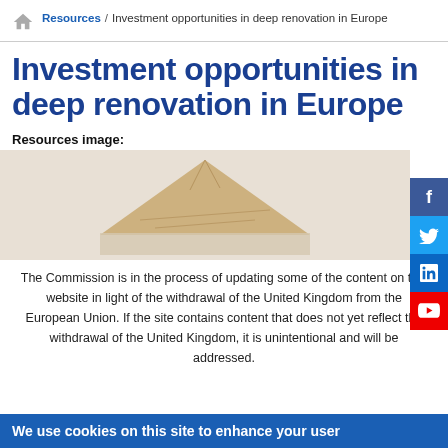Resources / Investment opportunities in deep renovation in Europe
Investment opportunities in deep renovation in Europe
Resources image:
[Figure (photo): Photo of a stone or wooden house model on a beige/cream background]
The Commission is in the process of updating some of the content on this website in light of the withdrawal of the United Kingdom from the European Union. If the site contains content that does not yet reflect the withdrawal of the United Kingdom, it is unintentional and will be addressed.
We use cookies on this site to enhance your user